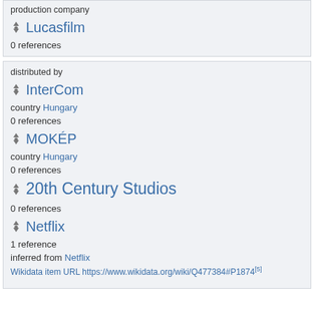production company
Lucasfilm
0 references
distributed by
InterCom
country Hungary
0 references
MOKÉP
country Hungary
0 references
20th Century Studios
0 references
Netflix
1 reference
inferred from Netflix
Wikidata item URL https://...